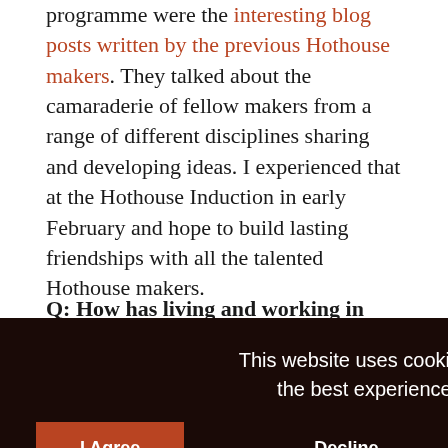programme were the interesting blog posts written by the previous Hothouse makers. They talked about the camaraderie of fellow makers from a range of different disciplines sharing and developing ideas. I experienced that at the Hothouse Induction in early February and hope to build lasting friendships with all the talented Hothouse makers.
Q: How has living and working in Scotland influenced
[Figure (screenshot): Cookie consent overlay on dark brown background with message 'This website uses cookies to ensure you get the best experience on our website.' with Decline and I Agree buttons]
lurging. There is a wealth of knowledge and so much to